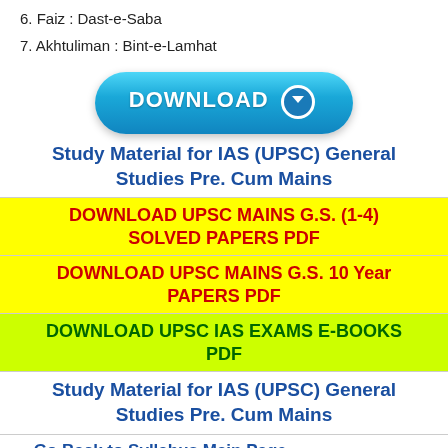6. Faiz : Dast-e-Saba
7. Akhtuliman : Bint-e-Lamhat
[Figure (illustration): Blue pill-shaped DOWNLOAD button with white bold text and a white-bordered dark circle containing a downward arrow icon]
Study Material for IAS (UPSC) General Studies Pre. Cum Mains
DOWNLOAD UPSC MAINS G.S. (1-4) SOLVED PAPERS PDF
DOWNLOAD UPSC MAINS G.S. 10 Year PAPERS PDF
DOWNLOAD UPSC IAS EXAMS E-BOOKS PDF
Study Material for IAS (UPSC) General Studies Pre. Cum Mains
»» Go Back to Syllabus Main Page